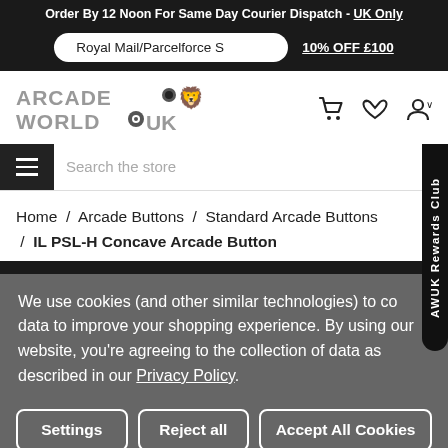Order By 12 Noon For Same Day Courier Dispatch - UK Only
Royal Mail/Parcelforce S   10% OFF £100
[Figure (logo): Arcade World UK logo with stylized text and icons]
Search the store
AWUK Rewards Club
Home / Arcade Buttons / Standard Arcade Buttons / IL PSL-H Concave Arcade Button
We use cookies (and other similar technologies) to collect data to improve your shopping experience. By using our website, you're agreeing to the collection of data as described in our Privacy Policy.
Settings
Reject all
Accept All Cookies